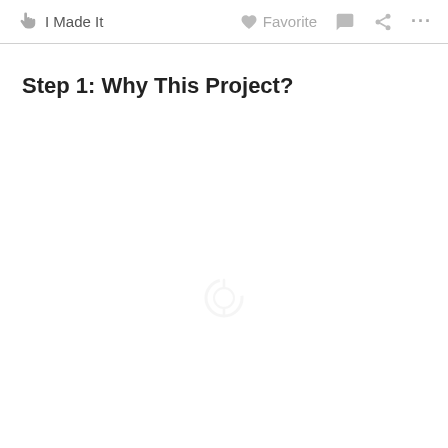I Made It  Favorite  ···
Step 1: Why This Project?